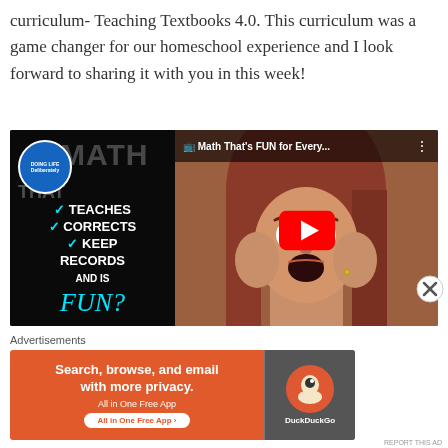curriculum- Teaching Textbooks 4.0. This curriculum was a game changer for our homeschool experience and I look forward to sharing it with you in this week!
[Figure (screenshot): YouTube video thumbnail showing a split-screen: left side has black background with channel logo (Doing Life Deliberately), text reading MATH THAT with checkmarks for TEACHES, CORRECTS, KEEP RECORDS, AND IS FUN!; right side shows a woman with red/auburn hair with hands on cheeks looking surprised, with YouTube play button overlay and title 'Math That's FUN for Every...']
Advertisements
[Figure (screenshot): DuckDuckGo advertisement banner with orange background. Left side text: 'Search, browse, and email with more privacy. All in One Free App'. Right side shows DuckDuckGo logo and brand name on dark background.]